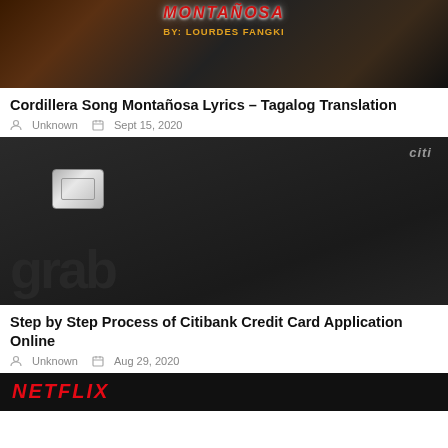[Figure (photo): Banner image for Cordillera Song Montañosa Lyrics article, dark background with colorful cultural imagery and text 'BY: LOURDES FANGKI']
Cordillera Song Montañosa Lyrics – Tagalog Translation
Unknown   Sept 15, 2020
[Figure (photo): Image of a dark Citibank Grab credit card with chip and Citi logo visible]
Step by Step Process of Citibank Credit Card Application Online
Unknown   Aug 29, 2020
[Figure (photo): Partial Netflix banner image with red Netflix logo on dark background]